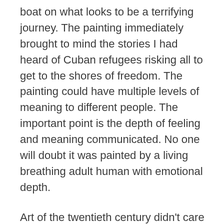boat on what looks to be a terrifying journey. The painting immediately brought to mind the stories I had heard of Cuban refugees risking all to get to the shores of freedom.  The painting could have multiple levels of meaning to different people. The important point is the depth of feeling and meaning communicated.  No one will doubt it was painted by a living breathing adult human with emotional depth.
Art of the twentieth century didn't care if people felt anything or not.  The artists likely didn't care either.  There is very little there to connect with deeper human emotions.  Art appears now headed toward connecting with people again.  It delves into different layers of